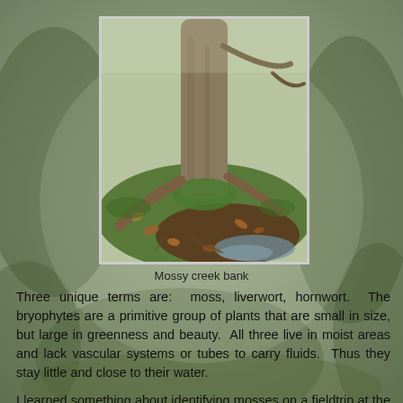[Figure (photo): Photograph of a mossy creek bank with tree roots, moss, fallen leaves, and water visible at the base of a large tree trunk in a forest setting.]
Mossy creek bank
Three unique terms are:  moss, liverwort, hornwort.  The bryophytes are a primitive group of plants that are small in size, but large in greenness and beauty.  All three live in moist areas and lack vascular systems or tubes to carry fluids.  Thus they stay little and close to their water.
I learned something about identifying mosses on a fieldtrip at the 2011 Spring Wildflower Pilgrimage in Great Smoky